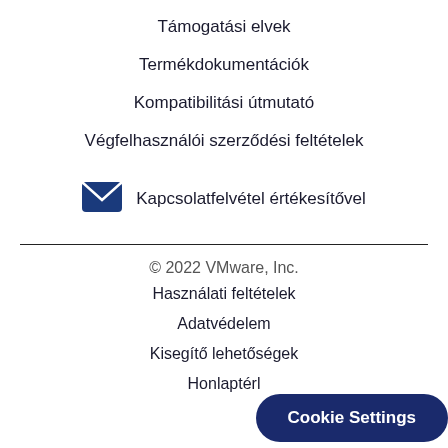Támogatási elvek
Termékdokumentációk
Kompatibilitási útmutató
Végfelhasználói szerződési feltételek
Kapcsolatfelvétel értékesítővel
© 2022 VMware, Inc.
Használati feltételek
Adatvédelem
Kisegítő lehetőségek
Honlaptérl...
Cookie Settings